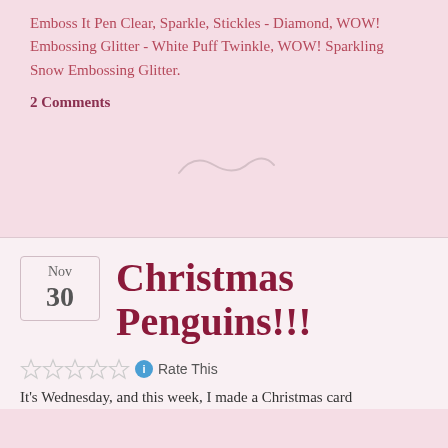Emboss It Pen Clear, Sparkle, Stickles - Diamond, WOW! Embossing Glitter - White Puff Twinkle, WOW! Sparkling Snow Embossing Glitter.
2 Comments
[Figure (illustration): Decorative swirl/tilde divider in light pinkish-gray]
Nov
30
Christmas Penguins!!!
[Figure (infographic): Five empty star rating icons followed by a blue info icon and 'Rate This' text]
It's Wednesday, and this week, I made a Christmas card